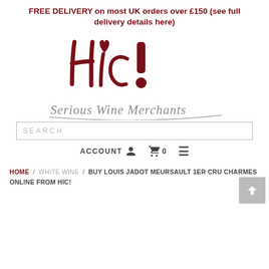FREE DELIVERY on most UK orders over £150 (see full delivery details here)
[Figure (logo): Hic! Serious Wine Merchants handwritten-style logo in dark red/maroon color]
SEARCH
ACCOUNT  0  ≡
HOME / WHITE WINE / BUY LOUIS JADOT MEURSAULT 1ER CRU CHARMES ONLINE FROM HIC!